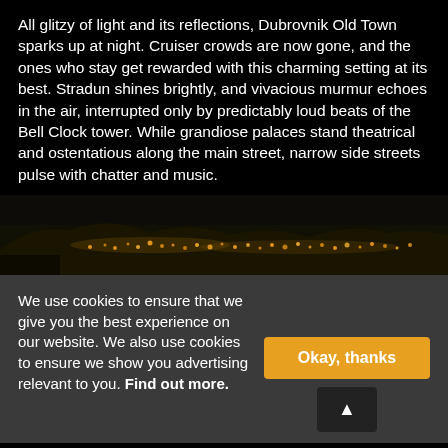All glitzy of light and its reflections, Dubrovnik Old Town sparks up at night. Cruiser crowds are now gone, and the ones who stay get rewarded with this charming setting at its best. Stradun shines brightly, and vivacious murmur echoes in the air, interrupted only by predictably loud beats of the Bell Clock tower. While grandiose palaces stand theatrical and ostentatious along the main street, narrow side streets pulse with chatter and music.
[Figure (photo): Night panoramic photo of Dubrovnik Old Town illuminated with warm orange/golden lights against a dark sky and hills]
We use cookies to ensure that we give you the best experience on our website. We also use cookies to ensure we show you advertising relevant to you. Find out more.